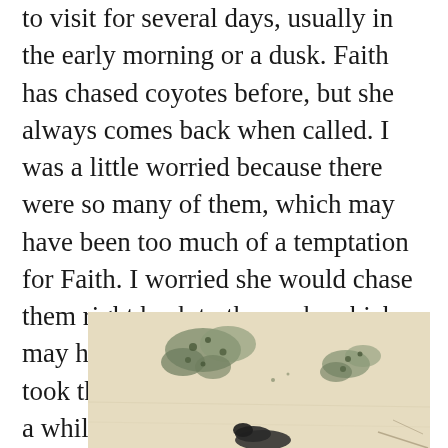to visit for several days, usually in the early morning or a dusk. Faith has chased coyotes before, but she always comes back when called. I was a little worried because there were so many of them, which may have been too much of a temptation for Faith. I worried she would chase them right back to the pack, which may have ended badly for her. So I took the Jeep and drove it around for a while. Driving the Jeep around also keeps up my off road paths.
[Figure (photo): A partial photograph showing an outdoor desert or dry landscape scene, with sparse shrubs or bushes visible against a light sandy/beige ground. The bottom of the image shows what appears to be a dark animal, possibly a dog.]